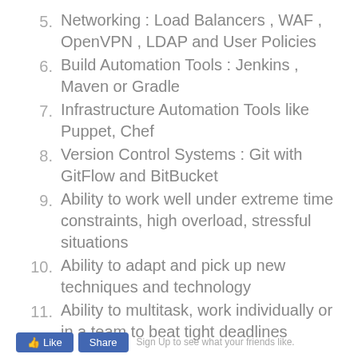5. Networking : Load Balancers , WAF , OpenVPN , LDAP and User Policies
6. Build Automation Tools : Jenkins , Maven or Gradle
7. Infrastructure Automation Tools like Puppet, Chef
8. Version Control Systems : Git with GitFlow and BitBucket
9. Ability to work well under extreme time constraints, high overload, stressful situations
10. Ability to adapt and pick up new techniques and technology
11. Ability to multitask, work individually or in a team to beat tight deadlines
Sign Up to see what your friends like.